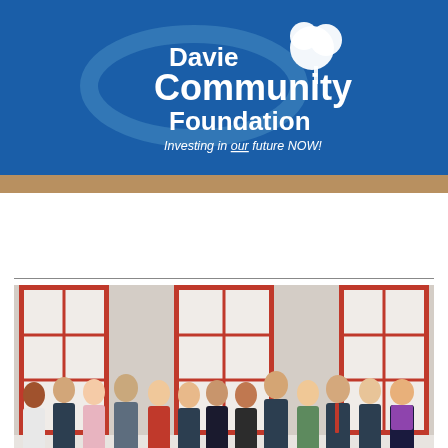[Figure (logo): Davie Community Foundation logo with tree graphic and tagline 'Investing in our future NOW!' on a blue background]
[Figure (photo): Group photo of approximately 13 people standing in a row in front of a building with red-framed windows. People are dressed in business casual attire.]